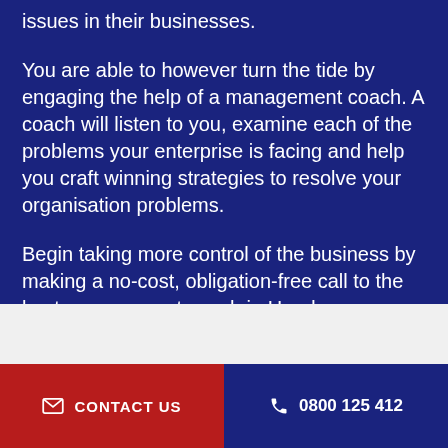issues in their businesses.
You are able to however turn the tide by engaging the help of a management coach. A coach will listen to you, examine each of the problems your enterprise is facing and help you craft winning strategies to resolve your organisation problems.
Begin taking more control of the business by making a no-cost, obligation-free call to the best management coach in Henderson.
Get in Touch » | ☎ 0800 125 412
✉ CONTACT US | ☎ 0800 125 412